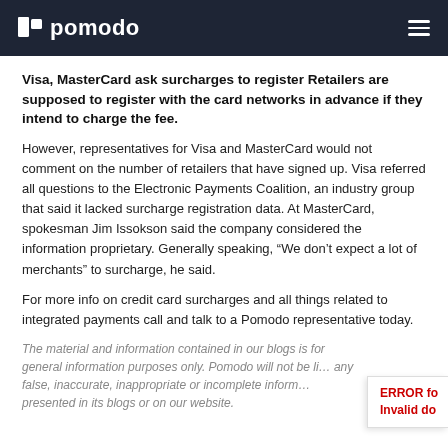pomodo
Visa, MasterCard ask surcharges to register Retailers are supposed to register with the card networks in advance if they intend to charge the fee.
However, representatives for Visa and MasterCard would not comment on the number of retailers that have signed up. Visa referred all questions to the Electronic Payments Coalition, an industry group that said it lacked surcharge registration data. At MasterCard, spokesman Jim Issokson said the company considered the information proprietary. Generally speaking, “We don’t expect a lot of merchants” to surcharge, he said.
For more info on credit card surcharges and all things related to integrated payments call and talk to a Pomodo representative today.
The material and information contained in our blogs is for general information purposes only. Pomodo will not be li... any false, inaccurate, inappropriate or incomplete inform... presented in its blogs or on our website.